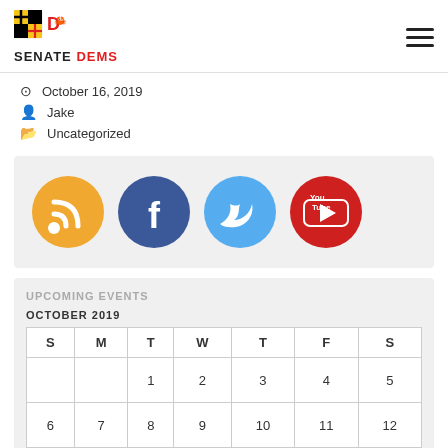[Figure (logo): Maryland Senate Dems logo with state flag icon and crab, text SENATE DEMS in bold]
October 16, 2019
Jake
Uncategorized
[Figure (illustration): Social media icons: RSS feed (orange), Facebook (blue), Twitter (light blue), YouTube (red)]
UPCOMING EVENTS
OCTOBER 2019
| S | M | T | W | T | F | S |
| --- | --- | --- | --- | --- | --- | --- |
|  |  | 1 | 2 | 3 | 4 | 5 |
| 6 | 7 | 8 | 9 | 10 | 11 | 12 |